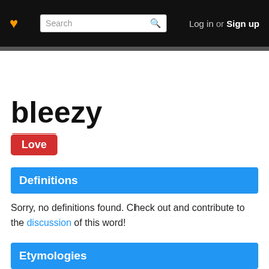❤ [Search] Log in or Sign up
bleezy
Love
Definitions
Sorry, no definitions found. Check out and contribute to the discussion of this word!
Etymologies